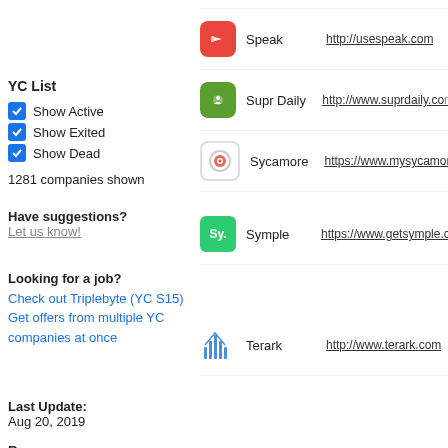YC List
Show Active
Show Exited
Show Dead
1281 companies shown
Have suggestions?
Let us know!
Looking for a job?
Check out Triplebyte (YC S15)
Get offers from multiple YC companies at once
Last Update:
Aug 20, 2019
Resources:
www.seed-db.com
www.crunchbase.com
www.techcrunch.com
Speak — http://usespeak.com
Supr Daily — http://www.suprdaily.com
Sycamore — https://www.mysycamore...
Symple — https://www.getsymple.c...
Terark — http://www.terark.com
Tetra — https://asktetra.com